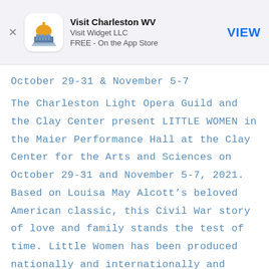[Figure (screenshot): App Store banner for 'Visit Charleston WV' by Visit Widget LLC, FREE on the App Store, with a capitol building icon and a VIEW button.]
October 29-31 & November 5-7
The Charleston Light Opera Guild and the Clay Center present LITTLE WOMEN in the Maier Performance Hall at the Clay Center for the Arts and Sciences on October 29-31 and November 5-7, 2021. Based on Louisa May Alcott's beloved American classic, this Civil War story of love and family stands the test of time. Little Women has been produced nationally and internationally and follows the adventures of the four March sisters – Jo, Meg, Beth and Amy – with their journeys into adulthood and life. Intercut with the vignettes in which their lives unfold are several recreations of the melodramatic